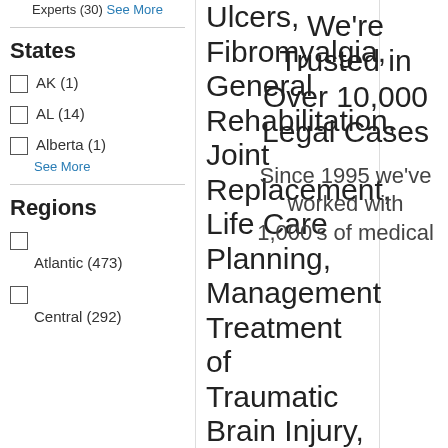Experts (30) See More
States
AK (1)
AL (14)
Alberta (1) See More
Regions
Atlantic (473)
Central (292)
Ulcers, Fibromyalgia, General Rehabilitation, Joint Replacement, Life Care Planning, Management Treatment of Traumatic Brain Injury, Medical Malpractice, Migraine Issues, Movement Disorders, Multiple Sclerosis, Orthotics, Parkinson's Disease, Physiatrist,
We're Trusted in Over 10,000 Legal Cases
Since 1995 we've worked with 1,000's of medical